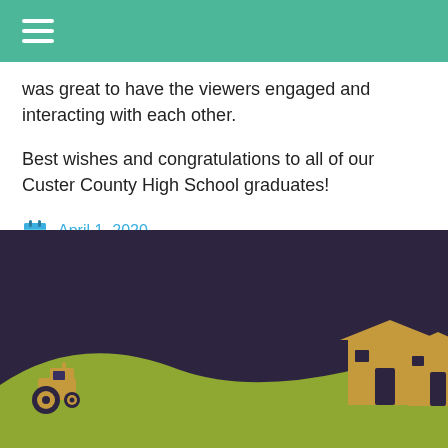was great to have the viewers engaged and interacting with each other.
Best wishes and congratulations to all of our Custer County High School graduates!
April 1, 2020
[Figure (illustration): Rural scene footer illustration with dark purple sky, green rolling hills, a tan tractor on the left, and two tan house silhouettes on the right]